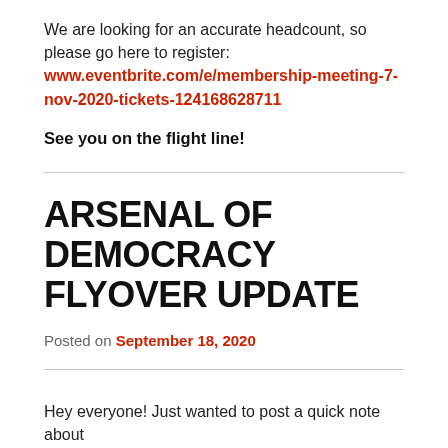We are looking for an accurate headcount, so please go here to register: www.eventbrite.com/e/membership-meeting-7-nov-2020-tickets-124168628711
See you on the flight line!
ARSENAL OF DEMOCRACY FLYOVER UPDATE
Posted on September 18, 2020
Hey everyone! Just wanted to post a quick note about